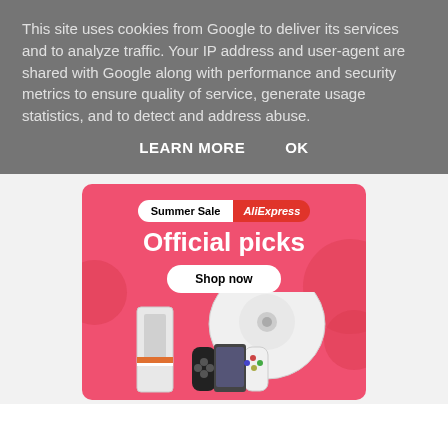This site uses cookies from Google to deliver its services and to analyze traffic. Your IP address and user-agent are shared with Google along with performance and security metrics to ensure quality of service, generate usage statistics, and to detect and address abuse.
LEARN MORE
OK
[Figure (infographic): AliExpress Summer Sale advertisement banner with pink background, showing 'Summer Sale AliExpress' badge, 'Official picks' heading, 'Shop now' button, and product images including a robot vacuum, Nintendo Switch, and a smartphone/tablet device.]